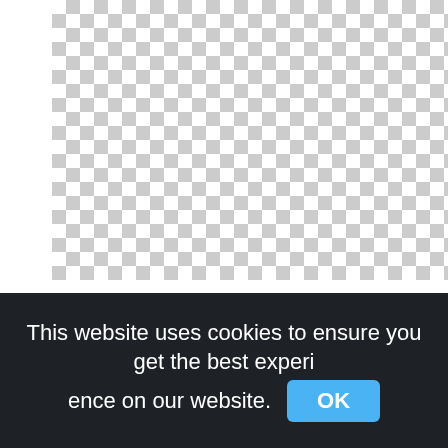[Figure (other): Transparent/checkerboard placeholder area representing a missing or loading image of Two-way Anova Analysis of Catalase Activity of Oysters]
Two, way Anova Analysis Of Catalase Activity Of Oysters, Number,font png
850x876px
This website uses cookies to ensure you get the best experience on our website. OK